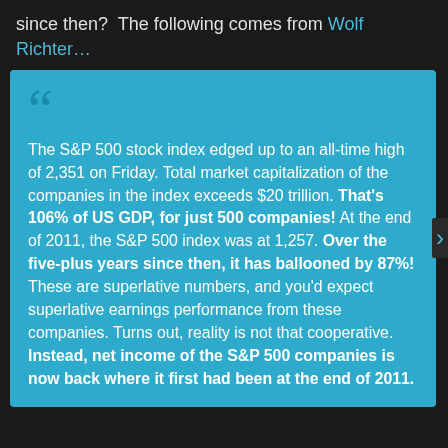since then?  The following comes from Wolf Richter…
The S&P 500 stock index edged up to an all-time high of 2,351 on Friday. Total market capitalization of the companies in the index exceeds $20 trillion. That's 106% of US GDP, for just 500 companies! At the end of 2011, the S&P 500 index was at 1,257. Over the five-plus years since then, it has ballooned by 87%! These are superlative numbers, and you'd expect superlative earnings performance from these companies. Turns out, reality is not that cooperative. Instead, net income of the S&P 500 companies is now back where it first had been at the end of 2011.